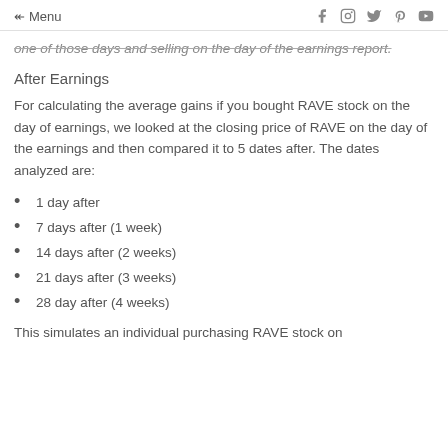Menu
one of those days and selling on the day of the earnings report.
After Earnings
For calculating the average gains if you bought RAVE stock on the day of earnings, we looked at the closing price of RAVE on the day of the earnings and then compared it to 5 dates after. The dates analyzed are:
1 day after
7 days after (1 week)
14 days after (2 weeks)
21 days after (3 weeks)
28 day after (4 weeks)
This simulates an individual purchasing RAVE stock on